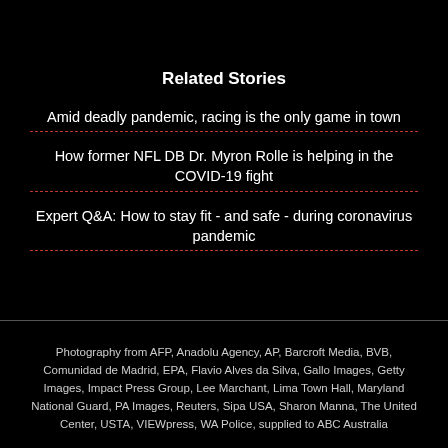Related Stories
Amid deadly pandemic, racing is the only game in town
How former NFL DB Dr. Myron Rolle is helping in the COVID-19 fight
Expert Q&A: How to stay fit - and safe - during coronavirus pandemic
Photography from AFP, Anadolu Agency, AP, Barcroft Media, BVB, Comunidad de Madrid, EPA, Flavio Alves da Silva, Gallo Images, Getty Images, Impact Press Group, Lee Marchant, Lima Town Hall, Maryland National Guard, PA Images, Reuters, Sipa USA, Sharon Manna, The United Center, USTA, VIEWpress, WA Police, supplied to ABC Australia